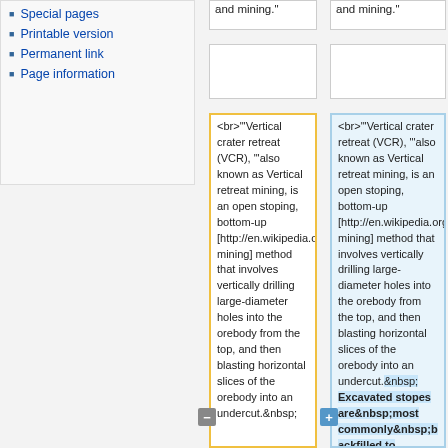Special pages
Printable version
Permanent link
Page information
and mining."
and mining."
<br>"'Vertical crater retreat (VCR), "'also known as Vertical retreat mining, is an open stoping, bottom-up [http://en.wikipedia.org/wiki/Mining mining] method that involves vertically drilling large-diameter holes into the orebody from the top, and then blasting horizontal slices of the orebody into an undercut.&nbsp;
<br>"'Vertical crater retreat (VCR), "'also known as Vertical retreat mining, is an open stoping, bottom-up [http://en.wikipedia.org/wiki/Mining mining] method that involves vertically drilling large-diameter holes into the orebody from the top, and then blasting horizontal slices of the orebody into an undercut.&nbsp; Excavated stopes are&nbsp;most commonly&nbsp;backfilled to provide